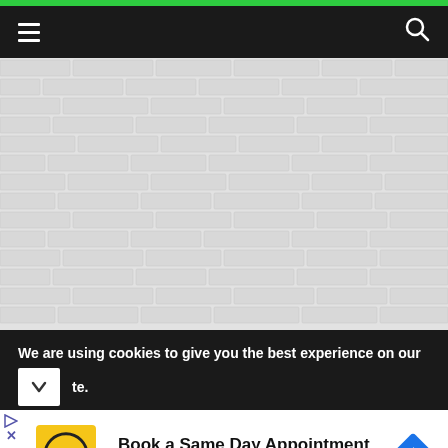Navigation bar with hamburger menu and search icon
[Figure (photo): White/light gray brick wall texture background]
We are using cookies to give you the best experience on our site.
[Figure (infographic): Advertisement: Book a Same Day Appointment - Hair Cuttery, with HC logo and navigation arrow icon]